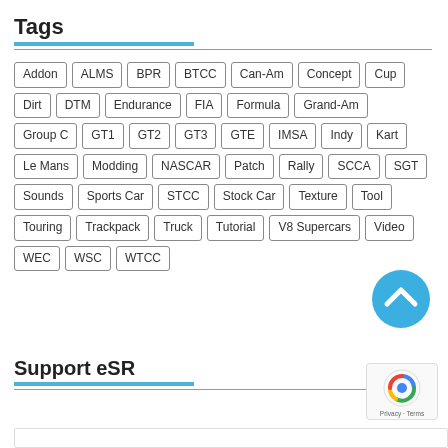Tags
Addon
ALMS
BPR
BTCC
Can-Am
Concept
Cup
Dirt
DTM
Endurance
FIA
Formula
Grand-Am
Group C
GT1
GT2
GT3
GTE
IMSA
Indy
Kart
Le Mans
Modding
NASCAR
Patch
Rally
SCCA
SGT
Sounds
Sports Car
STCC
Stock Car
Texture
Tool
Touring
Trackpack
Truck
Tutorial
V8 Supercars
Video
WEC
WSC
WTCC
[Figure (illustration): Blue circular back-to-top button with white chevron/caret pointing upward]
Support eSR
[Figure (logo): Google reCAPTCHA badge with Privacy and Terms links]